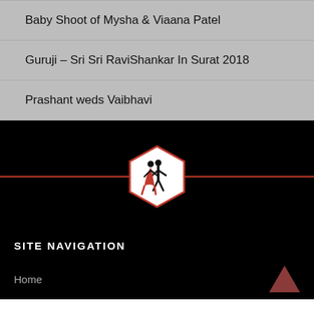Baby Shoot of Mysha & Viaana Patel
Guruji – Sri Sri RaviShankar In Surat 2018
Prashant weds Vaibhavi
[Figure (logo): Hexagonal logo with a couple dancing tango silhouette in red and black on white background, centered on a red horizontal line]
SITE NAVIGATION
Home